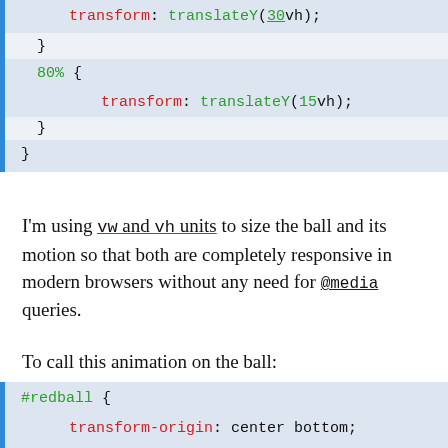[Figure (screenshot): CSS code block showing keyframe animation with translateY(30vh) closing brace, 80% { transform: translateY(15vh); } and closing brace]
I'm using vw and vh units to size the ball and its motion so that both are completely responsive in modern browsers without any need for @media queries.
To call this animation on the ball:
[Figure (screenshot): CSS code block showing #redball { transform-origin: center bottom; animation: bounce 1.3s cubic...]